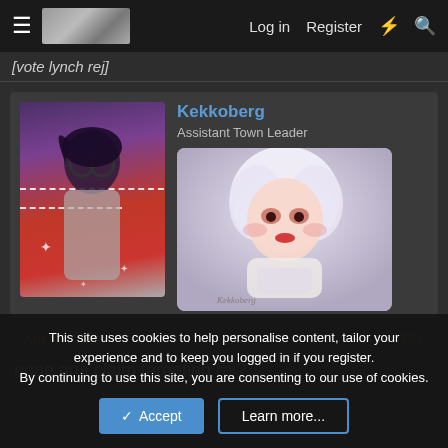Log in  Register
[vote lynch rej]
Kekkoberg
Assistant Town Leader
[Figure (illustration): Anime character avatar with glasses, dark hair, grey coat, purple and red background with dashed white lines]
[Figure (illustration): Anime girl with white hair holding a cup, soft fantasy art style]
Apr 24, 2021
#791
none gna claim targeting rej?
This site uses cookies to help personalise content, tailor your experience and to keep you logged in if you register.
By continuing to use this site, you are consenting to our use of cookies.